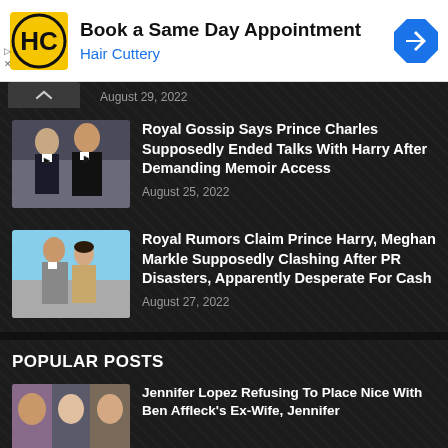[Figure (infographic): Hair Cuttery advertisement banner with HC logo, text 'Book a Same Day Appointment' and 'Hair Cuttery', and a blue navigation arrow icon]
August 29, 2022
[Figure (photo): Photo of two men in formal wear, one older and one younger, at an event — Prince Charles and Prince Harry]
Royal Gossip Says Prince Charles Supposedly Ended Talks With Harry After Demanding Memoir Access
August 25, 2022
[Figure (photo): Photo of a man and woman walking outdoors — Prince Harry and Meghan Markle]
Royal Rumors Claim Prince Harry, Meghan Markle Supposedly Clashing After PR Disasters, Apparently Desperate For Cash
August 27, 2022
POPULAR POSTS
[Figure (photo): Photo collage of multiple celebrities — related to Jennifer Lopez story]
Jennifer Lopez Refusing To Place Nice With Ben Affleck's Ex-Wife, Jennifer